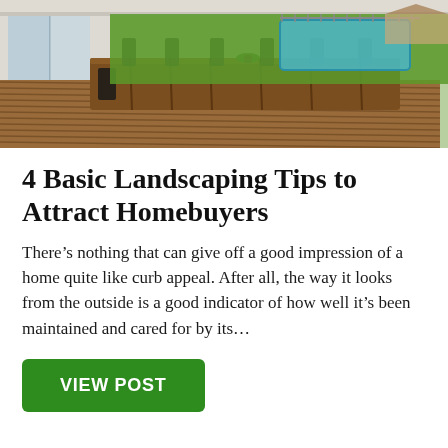[Figure (photo): Outdoor backyard scene with a wooden deck, large wooden dining table with black chairs, a potted plant, and a swimming pool visible in the background surrounded by green lawn and fencing.]
4 Basic Landscaping Tips to Attract Homebuyers
There’s nothing that can give off a good impression of a home quite like curb appeal. After all, the way it looks from the outside is a good indicator of how well it’s been maintained and cared for by its…
VIEW POST